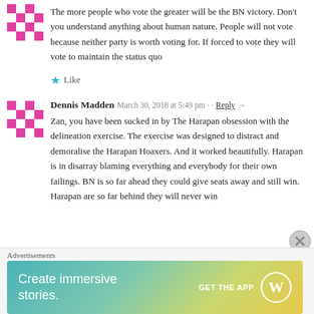The more people who vote the greater will be the BN victory. Don't you understand anything about human nature. People will not vote because neither party is worth voting for. If forced to vote they will vote to maintain the status quo
Like
Dennis Madden  March 30, 2018 at 5:49 pm  Reply →
Zan, you have been sucked in by The Harapan obsession with the delineation exercise. The exercise was designed to distract and demoralise the Harapan Hoaxers. And it worked beautifully. Harapan is in disarray blaming everything and everybody for their own failings. BN is so far ahead they could give seats away and still win. Harapan are so far behind they will never win
Advertisements
[Figure (illustration): WordPress advertisement banner: gradient background teal to yellow-green, text 'Create immersive stories.' on left, 'GET THE APP' with WordPress logo on right.]